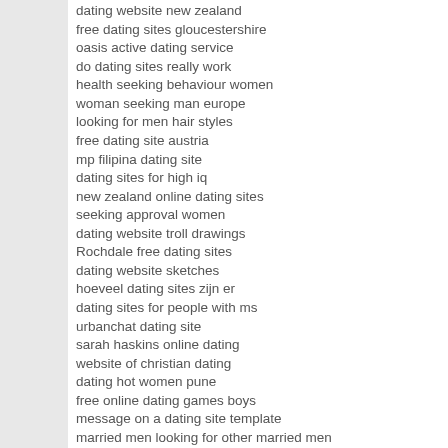dating website new zealand
free dating sites gloucestershire
oasis active dating service
do dating sites really work
health seeking behaviour women
woman seeking man europe
looking for men hair styles
free dating site austria
mp filipina dating site
dating sites for high iq
new zealand online dating sites
seeking approval women
dating website troll drawings
Rochdale free dating sites
dating website sketches
hoeveel dating sites zijn er
dating sites for people with ms
urbanchat dating site
sarah haskins online dating
website of christian dating
dating hot women pune
free online dating games boys
message on a dating site template
married men looking for other married men
looking for a woman in australia
dating online dummies
dating sites voor alleenstaande ouders
free online dating stoke trent
apps for online dating
singles dating free websites